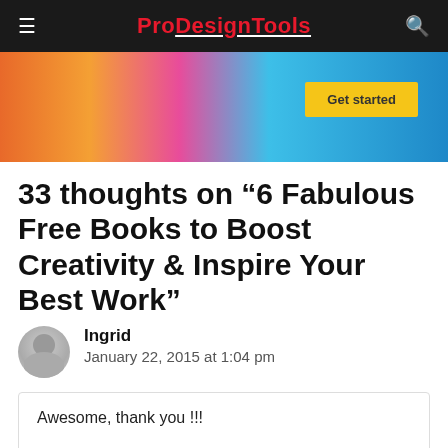ProDesignTools
[Figure (photo): Banner advertisement with colorful hair person on left and yellow 'Get started' button on right, blue background]
33 thoughts on “6 Fabulous Free Books to Boost Creativity & Inspire Your Best Work”
Ingrid
January 22, 2015 at 1:04 pm
Awesome, thank you !!!
Reply